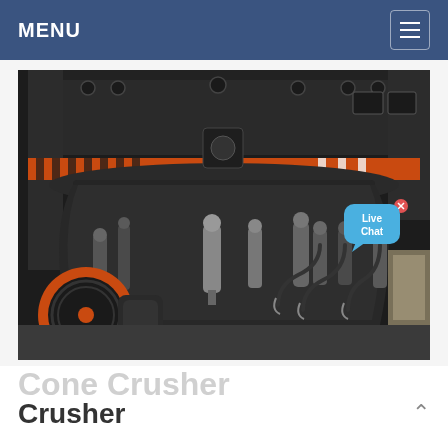MENU
[Figure (photo): Close-up photograph of a large industrial cone crusher machine. The machine is predominantly black/dark grey with a distinctive orange/red horizontal band around the upper section. Various hydraulic cylinders, hoses, fittings, and components are visible. An orange circular component is visible in the lower left. A 'Live Chat' bubble overlay appears in the upper right of the image.]
Crusher